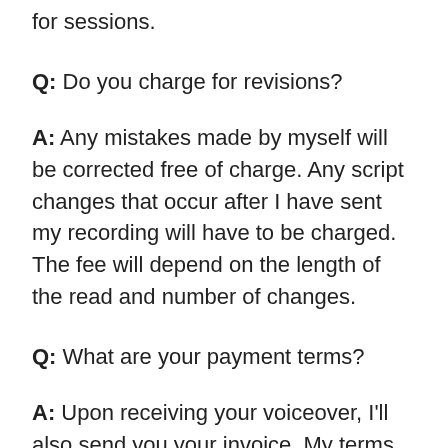for sessions.
Q: Do you charge for revisions?
A: Any mistakes made by myself will be corrected free of charge. Any script changes that occur after I have sent my recording will have to be charged. The fee will depend on the length of the read and number of changes.
Q: What are your payment terms?
A: Upon receiving your voiceover, I'll also send you your invoice. My terms are 30 days